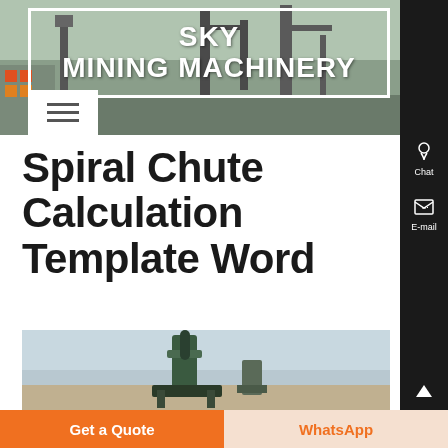[Figure (photo): Sky Mining Machinery website header with industrial mining equipment background image and white border box around the company name]
SKY MINING MACHINERY
Spiral Chute Calculation Template Word
[Figure (photo): Industrial spiral chute machinery equipment photo with grey sky background]
Get a Quote
WhatsApp